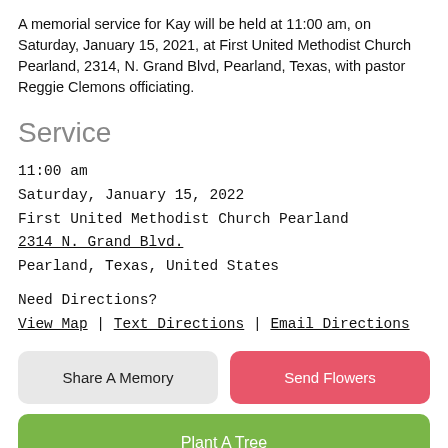A memorial service for Kay will be held at 11:00 am, on Saturday, January 15, 2021, at First United Methodist Church Pearland, 2314, N. Grand Blvd, Pearland, Texas, with pastor Reggie Clemons officiating.
Service
11:00 am
Saturday, January 15, 2022
First United Methodist Church Pearland
2314 N. Grand Blvd.
Pearland, Texas, United States
Need Directions?
View Map | Text Directions | Email Directions
Share A Memory
Send Flowers
Plant A Tree